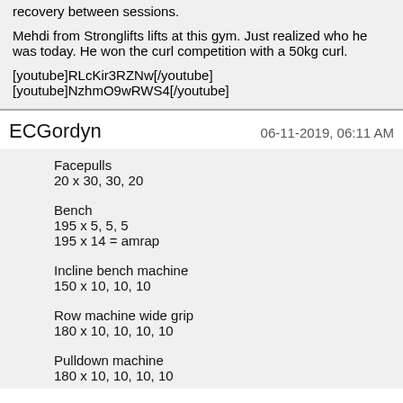recovery between sessions.
Mehdi from Stronglifts lifts at this gym. Just realized who he was today. He won the curl competition with a 50kg curl.
[youtube]RLcKir3RZNw[/youtube]
[youtube]NzhmO9wRWS4[/youtube]
ECGordyn	06-11-2019, 06:11 AM
Facepulls
20 x 30, 30, 20
Bench
195 x 5, 5, 5
195 x 14 = amrap
Incline bench machine
150 x 10, 10, 10
Row machine wide grip
180 x 10, 10, 10, 10
Pulldown machine
180 x 10, 10, 10, 10